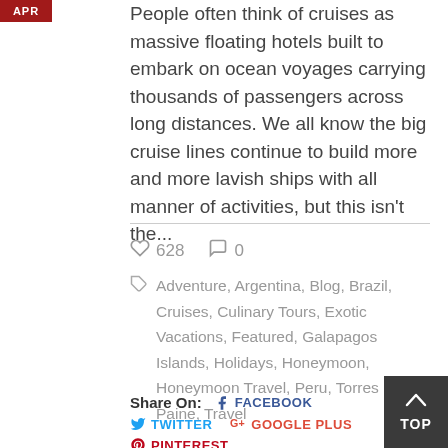[Figure (other): APR badge in red]
People often think of cruises as massive floating hotels built to embark on ocean voyages carrying thousands of passengers across long distances. We all know the big cruise lines continue to build more and more lavish ships with all manner of activities, but this isn't the...
♡ 628   ○ 0
Adventure, Argentina, Blog, Brazil, Cruises, Culinary Tours, Exotic Vacations, Featured, Galapagos Islands, Holidays, Honeymoon, Honeymoon Travel, Peru, Torres Del Paine, Travel
Share On: f FACEBOOK  twitter TWITTER  G+ GOOGLE PLUS  P PINTEREST